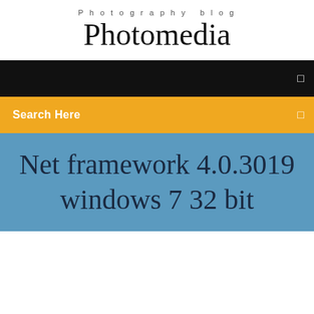Photography blog
Photomedia
[Figure (screenshot): Black navigation bar with a small white icon on the right]
[Figure (screenshot): Yellow/amber search bar with 'Search Here' text and a white icon on the right]
Net framework 4.0.3019 windows 7 32 bit